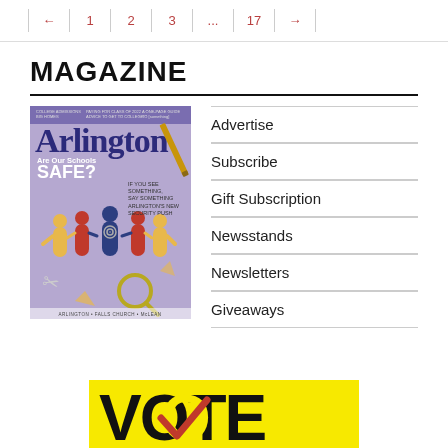← 1 2 3 ... 17 →
MAGAZINE
[Figure (illustration): Arlington Magazine cover showing 'Are Our Schools SAFE?' with paper cutout figures holding hands on a purple background]
Advertise
Subscribe
Gift Subscription
Newsstands
Newsletters
Giveaways
[Figure (illustration): Yellow banner with VOTE text in large black bold letters with a red checkmark]